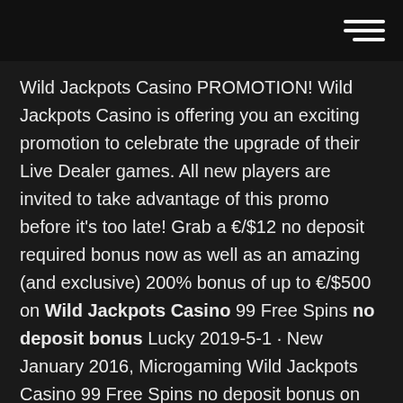[hamburger menu icon]
Wild Jackpots Casino PROMOTION! Wild Jackpots Casino is offering you an exciting promotion to celebrate the upgrade of their Live Dealer games. All new players are invited to take advantage of this promo before it's too late! Grab a €/$12 no deposit required bonus now as well as an amazing (and exclusive) 200% bonus of up to €/$500 on Wild Jackpots Casino 99 Free Spins no deposit bonus Lucky 2019-5-1 · New January 2016, Microgaming Wild Jackpots Casino 99 Free Spins no deposit bonus on New Video Slots : Lucky Twins and 500 Loyalty Points. Free Spins for Players Wild Jackpots Casino - 100% Up To £200 + 2500 Loyalty Wild Jackpots Casino Bonuses . 1st Deposit Bonus – 100% Up To £200 + 2500 Loyalty Points – Second Deposit Bonus – 50% up to $/€100 free – Wagered At least 40 Times – You